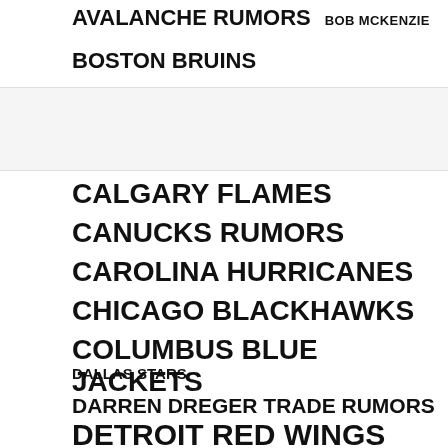AVALANCHE RUMORS   BOB MCKENZIE
BOSTON BRUINS
CALGARY FLAMES
CANUCKS RUMORS
CAROLINA HURRICANES
CHICAGO BLACKHAWKS
COLUMBUS BLUE JACKETS
DALLAS STARS
DARREN DREGER TRADE RUMORS
DETROIT RED WINGS
ELLIOTTE FRIEDMAN   EVANDER KANE
FLORIDA PANTHERS
HABS TRADE RUMORS